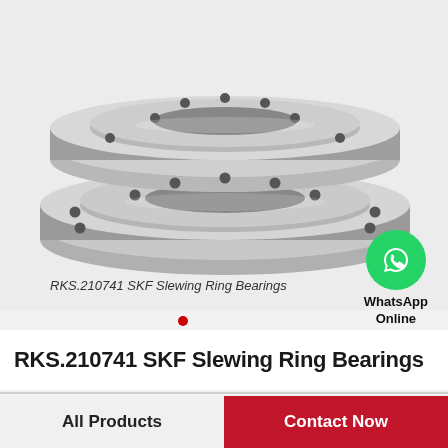[Figure (photo): Two stacked slewing ring bearings made of stainless steel, with bolt holes around the circumference, shown in a product photo against a light grey background]
RKS.210741 SKF Slewing Ring Bearings
[Figure (logo): WhatsApp green circle icon with phone handset, labeled WhatsApp Online]
RKS.210741 SKF Slewing Ring Bearings
All Products
Contact Now